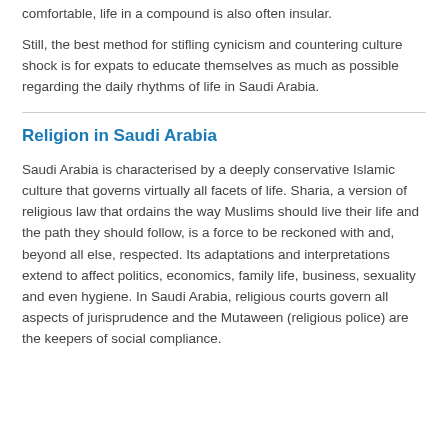comfortable, life in a compound is also often insular.
Still, the best method for stifling cynicism and countering culture shock is for expats to educate themselves as much as possible regarding the daily rhythms of life in Saudi Arabia.
Religion in Saudi Arabia
Saudi Arabia is characterised by a deeply conservative Islamic culture that governs virtually all facets of life. Sharia, a version of religious law that ordains the way Muslims should live their life and the path they should follow, is a force to be reckoned with and, beyond all else, respected. Its adaptations and interpretations extend to affect politics, economics, family life, business, sexuality and even hygiene. In Saudi Arabia, religious courts govern all aspects of jurisprudence and the Mutaween (religious police) are the keepers of social compliance.